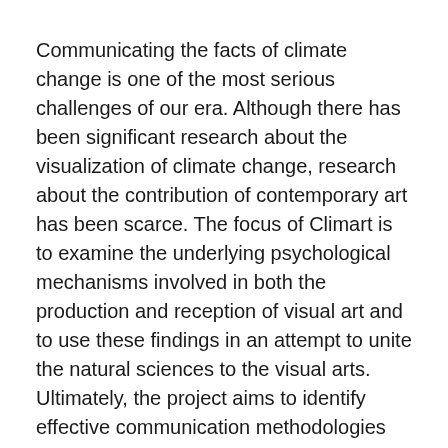Communicating the facts of climate change is one of the most serious challenges of our era. Although there has been significant research about the visualization of climate change, research about the contribution of contemporary art has been scarce. The focus of Climart is to examine the underlying psychological mechanisms involved in both the production and reception of visual art and to use these findings in an attempt to unite the natural sciences to the visual arts. Ultimately, the project aims to identify effective communication methodologies that have the capacity to reach greater audiences, initiate discussion and potentially influence attitudes.